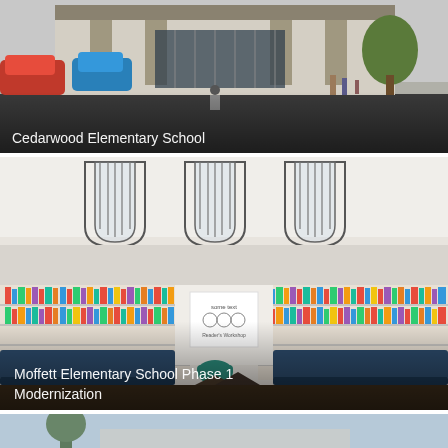[Figure (photo): Architectural rendering of Cedarwood Elementary School exterior entrance with people walking and cycling, showing stone pillars, gate, and landscaping]
Cedarwood Elementary School
[Figure (photo): Interior rendering of Moffett Elementary School Phase 1 Modernization showing a library/media center with bookshelves, arched windows, blue seating benches, and hexagonal tables]
Moffett Elementary School Phase 1 Modernization
[Figure (photo): Partial view of a third school rendering, showing a sky and treetops at the bottom of the page]